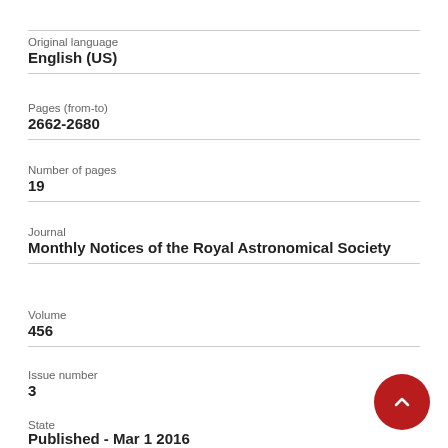Original language
English (US)
Pages (from-to)
2662-2680
Number of pages
19
Journal
Monthly Notices of the Royal Astronomical Society
Volume
456
Issue number
3
State
Published - Mar 1 2016